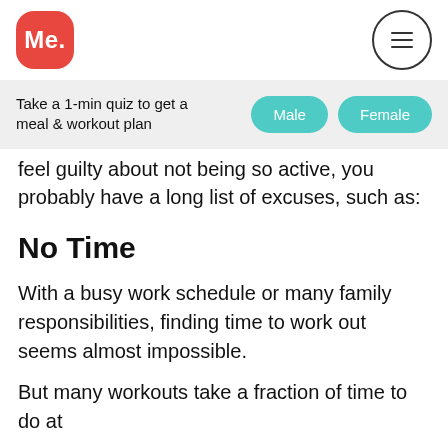[Figure (logo): Me. logo — red rounded square with white text 'Me.']
Take a 1-min quiz to get a meal & workout plan
Male  Female
feel guilty about not being so active, you probably have a long list of excuses, such as:
No Time
With a busy work schedule or many family responsibilities, finding time to work out seems almost impossible.
But many workouts take a fraction of time to do at